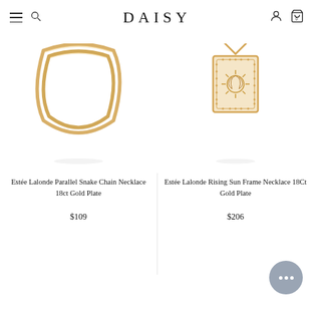DAISY
[Figure (photo): Estée Lalonde Parallel Snake Chain Necklace 18ct Gold Plate - gold layered chain necklace]
Estée Lalonde Parallel Snake Chain Necklace 18ct Gold Plate
$109
[Figure (photo): Estée Lalonde Rising Sun Frame Necklace 18Ct Gold Plate - gold rectangular pendant necklace with sun design]
Estée Lalonde Rising Sun Frame Necklace 18Ct Gold Plate
$206